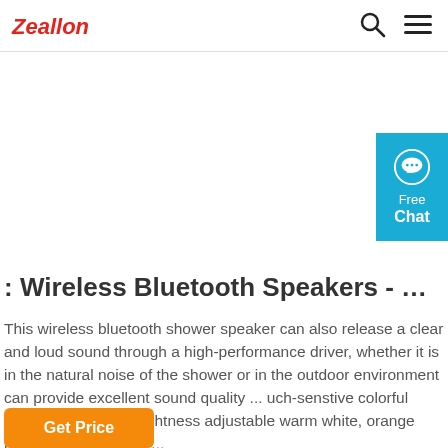Zeallon
[Figure (other): Free Chat button widget with speech bubble icon, cyan/teal background]
: Wireless Bluetooth Speakers - Portable Mini ...
This wireless bluetooth shower speaker can also release a clear and loud sound through a high-performance driver, whether it is in the natural noise of the shower or in the outdoor environment can provide excellent sound quality ... uch-senstive colorful night lamp: Three brightness adjustable warm white, orange red, dark blue, green ...
Get Price